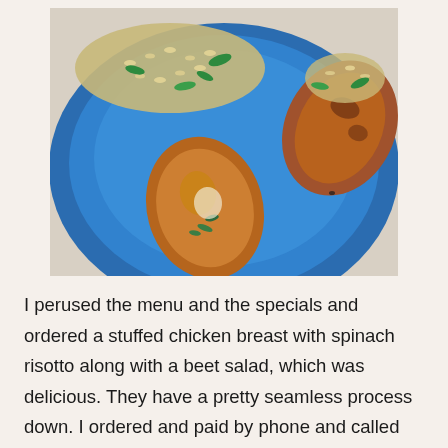[Figure (photo): Overhead photo of a blue plate with stuffed chicken breast, spinach risotto, and other food items]
I perused the menu and the specials and ordered a stuffed chicken breast with spinach risotto along with a beet salad, which was delicious. They have a pretty seamless process down. I ordered and paid by phone and called